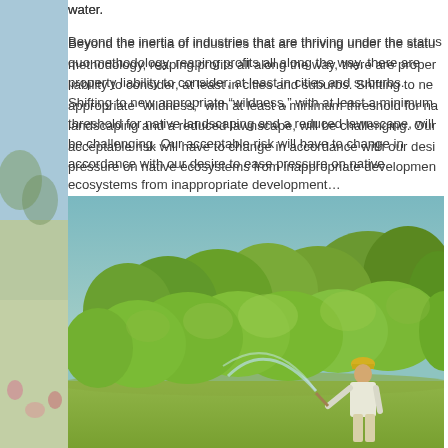water.
Beyond the inertia of industries that are thriving under the status quo methodology, reaping profits all along the way, there are property liability to consider, at least in cities and suburbs. Shifting to new appropriate “wildness,” with at least a minimum threshold for native landscaping and a reduced lawnscape, will be challenging. Our acceptable risk will have to change in accordance with our desire to ease pressure on native ecosystems from inappropriate development…
[Figure (photo): A person in white clothing and a yellow hard hat stands on a green lawn, spraying water from a hose toward a dense row of green shrubs and trees with a light blue sky in the background.]